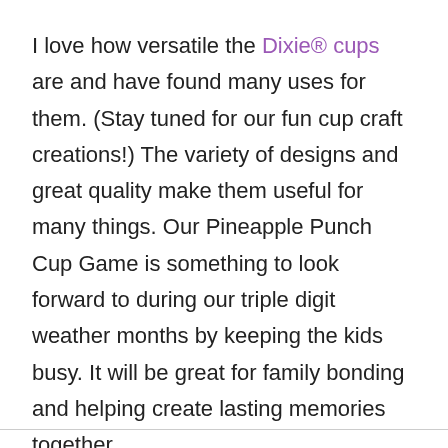I love how versatile the Dixie® cups are and have found many uses for them. (Stay tuned for our fun cup craft creations!) The variety of designs and great quality make them useful for many things. Our Pineapple Punch Cup Game is something to look forward to during our triple digit weather months by keeping the kids busy. It will be great for family bonding and helping create lasting memories together.